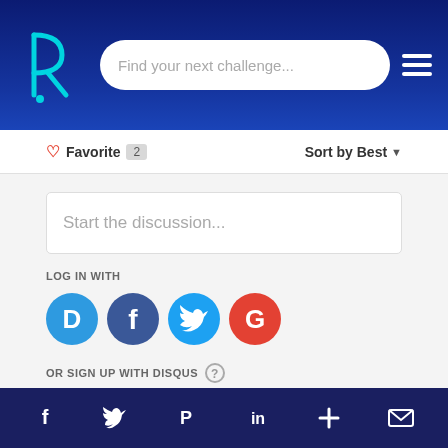[Figure (screenshot): Navigation header with logo, search bar 'Find your next challenge...', and hamburger menu on dark blue gradient background]
♡ Favorite 2   Sort by Best ▾
Start the discussion...
LOG IN WITH
[Figure (logo): Social login icons: Disqus (D, blue), Facebook (f, dark blue), Twitter (bird, light blue), Google (G, red)]
OR SIGN UP WITH DISQUS ?
Name
Be the first to comment.
[Figure (infographic): Footer with social share icons: Facebook, Twitter, Pinterest, LinkedIn, Plus, Email on dark navy background]